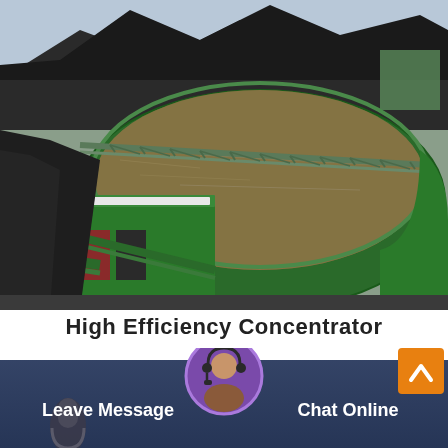[Figure (photo): Aerial/elevated view of a High Efficiency Concentrator industrial equipment — a large circular green tank/thickener with a metal walkway bridge across the top, filled with brown liquid/slurry, surrounded by large piles of black coal or ore material in the background. A green mechanical building/housing is visible at the front of the tank, with green pipes. The structure is predominately green painted metal.]
High Efficiency Concentrator
[Figure (infographic): Website footer bar with dark blue/slate background showing 'Leave Message' button on the left, a circular avatar of a woman with a headset in the center, and 'Chat Online' button on the right. An orange scroll-to-top button with an upward chevron is in the upper right corner. A microphone icon/silhouette is on the lower left.]